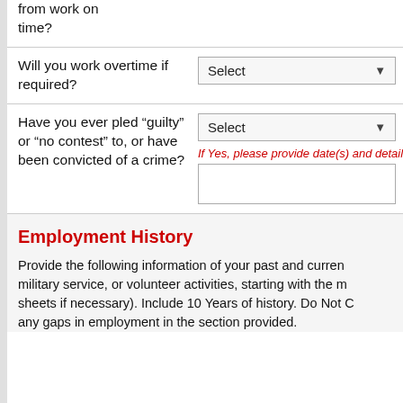from work on time?
Will you work overtime if required?
Have you ever pled “guilty” or “no contest” to, or have been convicted of a crime?
Employment History
Provide the following information of your past and current employment, military service, or volunteer activities, starting with the most recent (attach sheets if necessary). Include 10 Years of history. Do Not Omit any gaps in employment in the section provided.